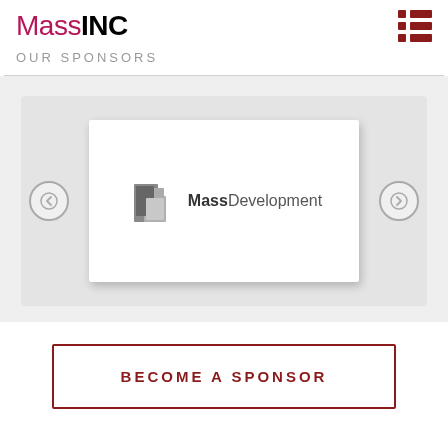MassINC
OUR SPONSORS
[Figure (logo): MassDevelopment logo with stylized building icon in grayscale and text 'MassDevelopment']
BECOME A SPONSOR